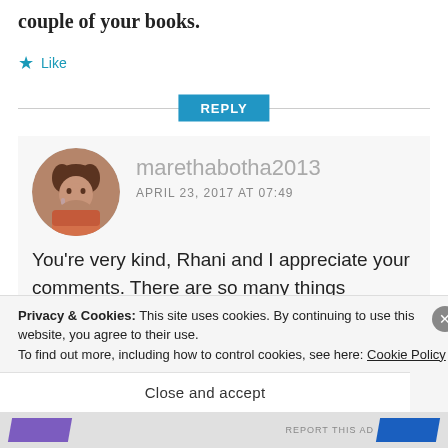couple of your books.
Like
REPLY
marethabotha2013
APRIL 23, 2017 AT 07:49
You're very kind, Rhani and I appreciate your comments. There are so many things children's authors need to do over and
Privacy & Cookies: This site uses cookies. By continuing to use this website, you agree to their use.
To find out more, including how to control cookies, see here: Cookie Policy
Close and accept